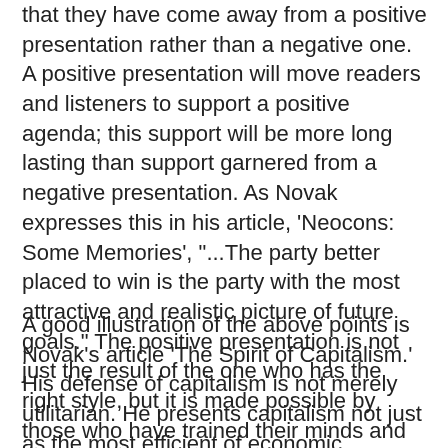that they have come away from a positive presentation rather than a negative one. A positive presentation will move readers and listeners to support a positive agenda; this support will be more long lasting than support garnered from a negative presentation. As Novak expresses this in his article, 'Neocons: Some Memories', "...The party better placed to win is the party with the most attractive and realistic picture of future goals." The positive presentation is not just the result of the one who has the right style, but it is made possible by those who have trained their minds and hearts to be positive in outlook. Not only that, one must also have the confidence in ordinary people to bring about change for the better. Reagan understood this; from the tone of Novaks' articles, Novak seems to possess this same understanding.
A good illustration of the above points is Novak's article 'The Spirit of Capitalism.' His defense of capitalism is not merely utilitarian. He presents capitalism not just as the most efficient of economic systems, but as a system that liberates the human spirit to advance itself out of of a poverty that has enslaved great majorities of populations continuously up to